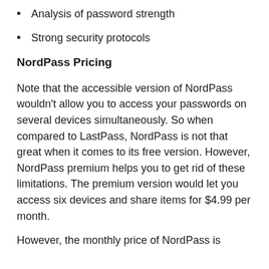Analysis of password strength
Strong security protocols
NordPass Pricing
Note that the accessible version of NordPass wouldn't allow you to access your passwords on several devices simultaneously. So when compared to LastPass, NordPass is not that great when it comes to its free version. However, NordPass premium helps you to get rid of these limitations. The premium version would let you access six devices and share items for $4.99 per month.
However, the monthly price of NordPass is